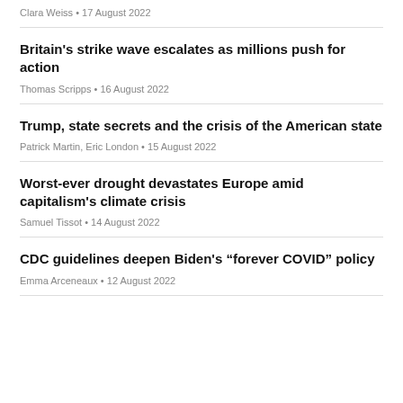Clara Weiss • 17 August 2022
Britain's strike wave escalates as millions push for action
Thomas Scripps • 16 August 2022
Trump, state secrets and the crisis of the American state
Patrick Martin, Eric London • 15 August 2022
Worst-ever drought devastates Europe amid capitalism's climate crisis
Samuel Tissot • 14 August 2022
CDC guidelines deepen Biden's “forever COVID” policy
Emma Arceneaux • 12 August 2022